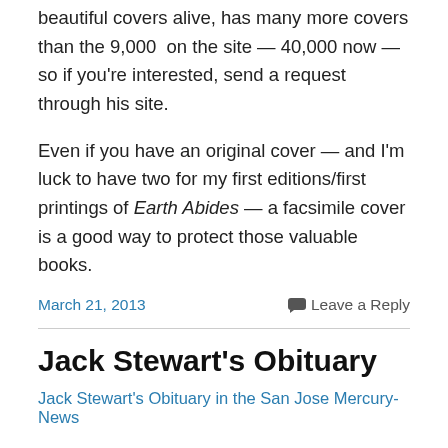beautiful covers alive, has many more covers than the 9,000  on the site — 40,000 now — so if you're interested, send a request through his site.
Even if you have an original cover — and I'm luck to have two for my first editions/first printings of Earth Abides — a facsimile cover is a good way to protect those valuable books.
March 21, 2013
Leave a Reply
Jack Stewart's Obituary
Jack Stewart's Obituary in the San Jose Mercury-News
The  obituary gives a fine overview of Jack's remarkable career.  He was the pro­eminent geologist for much of the